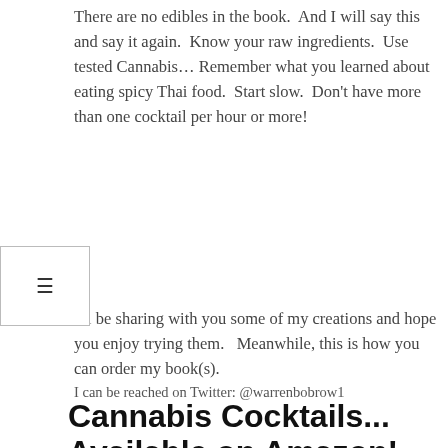There are no edibles in the book.  And I will say this and say it again.  Know your raw ingredients.  Use tested Cannabis… Remember what you learned about eating spicy Thai food.  Start slow.  Don't have more than one cocktail per hour or more!
I'll be sharing with you some of my creations and hope you enjoy trying them.   Meanwhile, this is how you can order my book(s).
I can be reached on Twitter: @warrenbobrow1
Cannabis Cocktails... Available on Amazon!
[Figure (illustration): Book cover image showing the word CANNABIS in large bold black letters on a light blue/teal background with a decorative border, set against a red/pink background.]